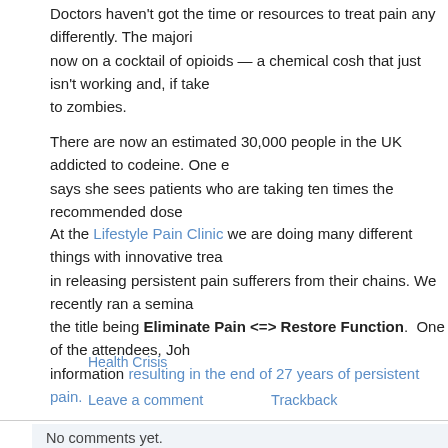Doctors haven't got the time or resources to treat pain any differently. The majority are now on a cocktail of opioids — a chemical cosh that just isn't working and, if taken, leads to zombies.
There are now an estimated 30,000 people in the UK addicted to codeine. One expert says she sees patients who are taking ten times the recommended dose
At the Lifestyle Pain Clinic we are doing many different things with innovative treatments in releasing persistent pain sufferers from their chains. We recently ran a seminar with the title being Eliminate Pain <=> Restore Function. One of the attendees, John, found information resulting in the end of 27 years of persistent pain.
Health Crisis
Leave a comment   Trackback
No comments yet.
You must be logged in to post a comment.
Great video describing the complexities and process of chronic persistent pain — National Pain Week event Brisbane — Learn how to Elimina...